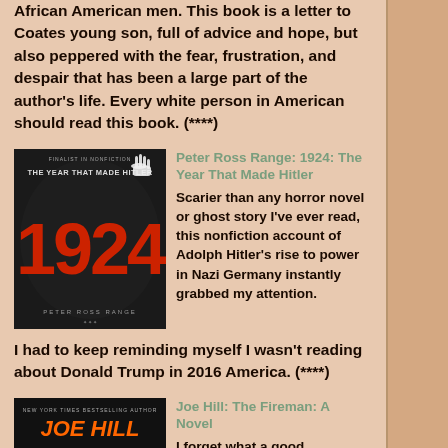African American men. This book is a letter to Coates young son, full of advice and hope, but also peppered with the fear, frustration, and despair that has been a large part of the author's life. Every white person in American should read this book. (****)
[Figure (photo): Book cover of '1924: The Year That Made Hitler' by Peter Ross Range. Dark cover with a raised white hand silhouette and large red '1924' text.]
Peter Ross Range: 1924: The Year That Made Hitler
Scarier than any horror novel or ghost story I've ever read, this nonfiction account of Adolph Hitler's rise to power in Nazi Germany instantly grabbed my attention. I had to keep reminding myself I wasn't reading about Donald Trump in 2016 America. (****)
[Figure (photo): Book cover of 'The Fireman: A Novel' by Joe Hill. Dark cover with orange Joe Hill text.]
Joe Hill: The Fireman: A Novel
I forget what a good